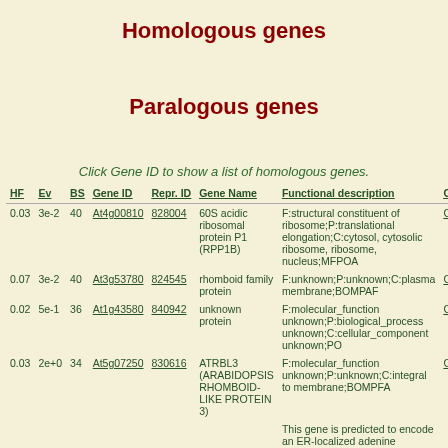Homologous genes
Paralogous genes
Click Gene ID to show a list of homologous genes.
| HF | Ev | BS | Gene ID | Repr. ID | Gene Name | Functional description | C.G. | S.X. | Oth |
| --- | --- | --- | --- | --- | --- | --- | --- | --- | --- |
| 0.03 | 3e-2 | 40 | At4g00810 | 828004 | 60S acidic ribosomal protein P1 (RPP1B) | F:structural constituent of ribosome;P:translational elongation;C:cytosol, cytosolic ribosome, ribosome, nucleus;MFPOA | C.G. | S.X. | P |
| 0.07 | 3e-2 | 40 | At3g53780 | 824545 | rhomboid family protein | F:unknown;P:unknown;C:plasma membrane;BOMPAF | C.G. | S.X. | P |
| 0.02 | 5e-1 | 36 | At1g43580 | 840942 | unknown protein | F:molecular_function unknown;P:biological_process unknown;C:cellular_component unknown;PO | C.G. | S.X. | P |
| 0.03 | 2e+0 | 34 | At5g07250 | 830616 | ATRBL3 (ARABIDOPSIS RHOMBOID-LIKE PROTEIN 3) | F:molecular_function unknown;P:unknown;C:integral to membrane;BOMPFA | C.G. | S.X. | P |
|  |  |  |  |  |  | This gene is predicted to encode an ER-localized adenine |  |  |  |